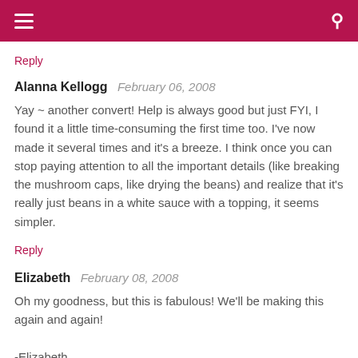≡  [menu]  [search]
Reply
Alanna Kellogg  February 06, 2008
Yay ~ another convert! Help is always good but just FYI, I found it a little time-consuming the first time too. I've now made it several times and it's a breeze. I think once you can stop paying attention to all the important details (like breaking the mushroom caps, like drying the beans) and realize that it's really just beans in a white sauce with a topping, it seems simpler.
Reply
Elizabeth  February 08, 2008
Oh my goodness, but this is fabulous! We'll be making this again and again!

-Elizabeth
Reply